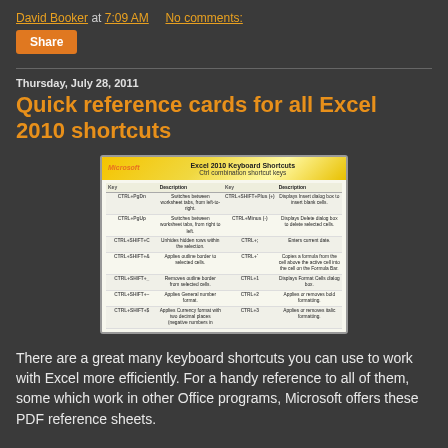David Booker at 7:09 AM   No comments:
Share
Thursday, July 28, 2011
Quick reference cards for all Excel 2010 shortcuts
[Figure (screenshot): Screenshot of Microsoft Excel 2010 Keyboard Shortcuts quick reference card showing Ctrl combination shortcut keys table with Key and Description columns]
There are a great many keyboard shortcuts you can use to work with Excel more efficiently. For a handy reference to all of them, some which work in other Office programs, Microsoft offers these PDF reference sheets.